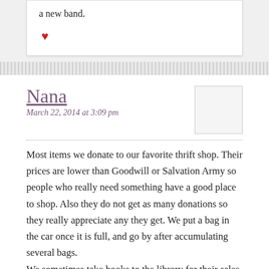a new band.
♥
Nana
March 22, 2014 at 3:09 pm
Most items we donate to our favorite thrift shop. Their prices are lower than Goodwill or Salvation Army so people who really need something have a good place to shop. Also they do not get as many donations so they really appreciate any they get. We put a bag in the car once it is full, and go by after accumulating several bags.
We sometimes take books to the library for their sales